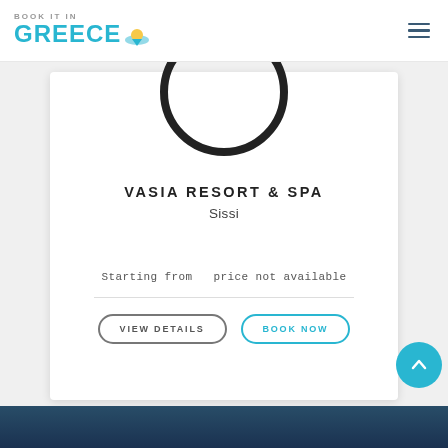BOOK IT IN GREECE
[Figure (illustration): Circular ring/medallion graphic at top of hotel card, partially cropped at top]
VASIA RESORT & SPA
Sissi
Starting from   price not available
VIEW DETAILS
BOOK NOW